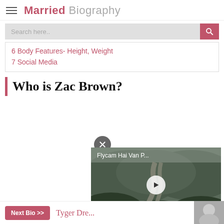Married Biography
Search here..
6 Body Features- Height, Weight
7 Social Media
Who is Zac Brown?
[Figure (screenshot): Video player overlay showing 'Flycam Hai Van P...' with a road winding through forested mountains, play button in center, close button above]
Next Bio >> Tyger Dre...